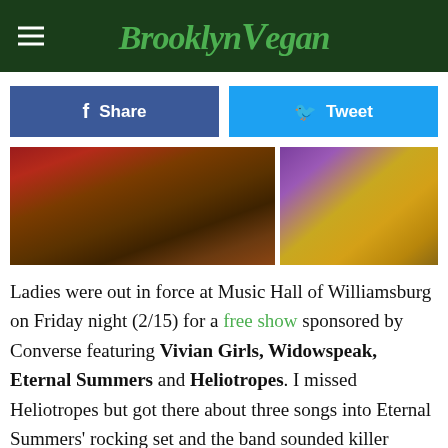BrooklynVegan
[Figure (photo): Two-panel photo strip: left panel shows red fabric/curtain and brown ridged surface, right panel shows a yellow/gold electric guitar neck against purple background]
Ladies were out in force at Music Hall of Williamsburg on Friday night (2/15) for a free show sponsored by Converse featuring Vivian Girls, Widowspeak, Eternal Summers and Heliotropes. I missed Heliotropes but got there about three songs into Eternal Summers' rocking set and the band sounded killer through the venue's soundsystem (definitely the most "pro" place I've seen them). Their set featured a lot of new songs, and the band are heading to Austin soon -- not for SXSW, but to record their next album with Guided by